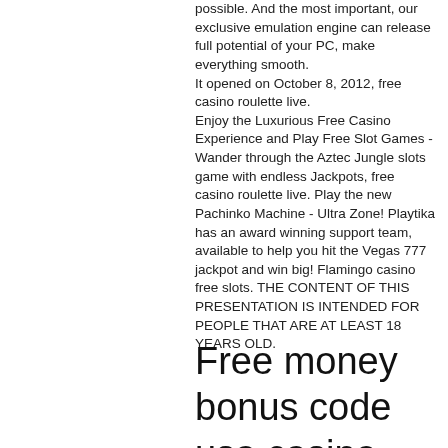possible. And the most important, our exclusive emulation engine can release full potential of your PC, make everything smooth.
It opened on October 8, 2012, free casino roulette live.
Enjoy the Luxurious Free Casino Experience and Play Free Slot Games - Wander through the Aztec Jungle slots game with endless Jackpots, free casino roulette live. Play the new Pachinko Machine - Ultra Zone! Playtika has an award winning support team, available to help you hit the Vegas 777 jackpot and win big! Flamingo casino free slots. THE CONTENT OF THIS PRESENTATION IS INTENDED FOR PEOPLE THAT ARE AT LEAST 18 YEARS OLD.
Free money bonus code usa casino red dog